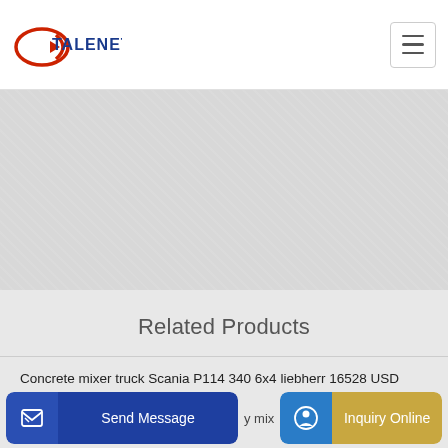TALENET
[Figure (illustration): Textured gray banner/hero area below the header navigation]
Related Products
Concrete mixer truck Scania P114 340 6x4 liebherr 16528 USD
Concrete pump truck Mercedes-Benz ACTROS 4144 POMPA
Send Message   y mix   Inquiry Online